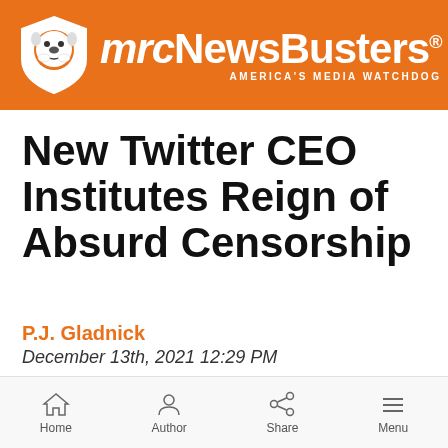mrcNewsBusters — AMERICA'S MEDIA WATCHDOG
New Twitter CEO Institutes Reign of Absurd Censorship
P.J. Gladnick
December 13th, 2021 12:29 PM
Text to Speech
00:00  00:00
Home   Author   Share   Menu